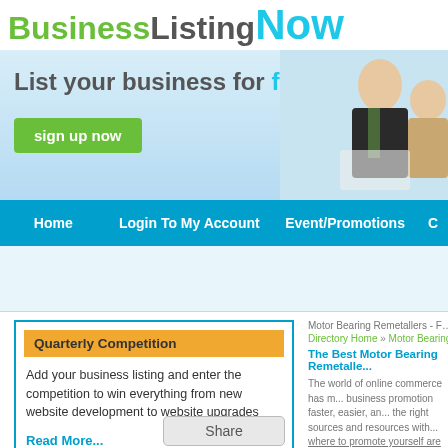[Figure (logo): BusinessListingNow logo with green 'Business', dark grey 'Listing', and cyan 'Now' text]
[Figure (illustration): Banner with light blue background, 'List your business for free!' headline, green 'sign up now' button, and business people photo on right]
[Figure (screenshot): Blue navigation bar with Home, Login To My Account, Event/Promotions menu items]
[Figure (screenshot): Light blue search/filter bar area]
Quarterly Competition
Add your business listing and enter the competition to win everything from new website development to website upgrades
Read More...
Hide this add
Motor Bearing Remetallers - Free Busine...
Directory Home » Motor Bearing Re...
The Best Motor Bearing Remetalle...
The world of online commerce has m... business promotion faster, easier, an... the right sources and resources with... where to promote yourself are som...